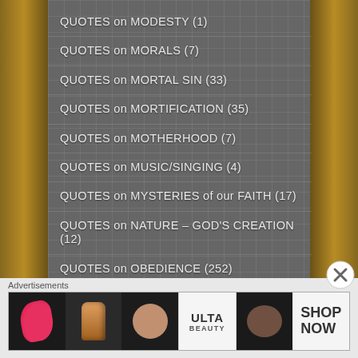QUOTES on MODESTY (1)
QUOTES on MORALS (7)
QUOTES on MORTAL SIN (33)
QUOTES on MORTIFICATION (35)
QUOTES on MOTHERHOOD (7)
QUOTES on MUSIC/SINGING (4)
QUOTES on MYSTERIES of our FAITH (17)
QUOTES on NATURE – GOD'S CREATION (12)
QUOTES on OBEDIENCE (252)
QUOTES on PATIENCE (106)
QUOTES on PEACE (175)
[Figure (illustration): Advertisement banner with Ulta Beauty cosmetics ad showing makeup images and SHOP NOW button]